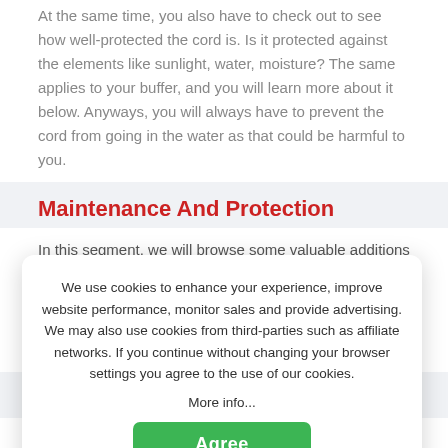At the same time, you also have to check out to see how well-protected the cord is. Is it protected against the elements like sunlight, water, moisture? The same applies to your buffer, and you will learn more about it below. Anyways, you will always have to prevent the cord from going in the water as that could be harmful to you.
Maintenance And Protection
In this segment, we will browse some valuable additions that could make the boat buffers last long. These are some final considerations. This article is just a reminder or suggestion for you as you finalize the buying process.
We use cookies to enhance your experience, improve website performance, monitor sales and provide advertising. We may also use cookies from third-parties such as affiliate networks. If you continue without changing your browser settings you agree to the use of our cookies. More info...
Agree
Warranty